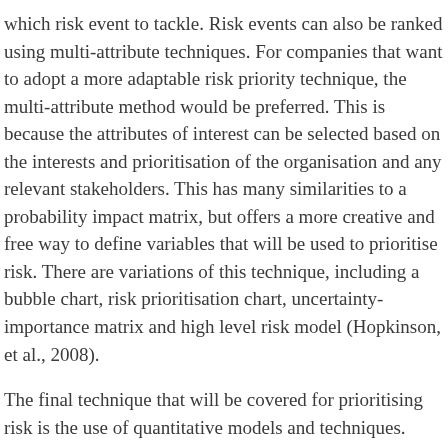which risk event to tackle. Risk events can also be ranked using multi-attribute techniques. For companies that want to adopt a more adaptable risk priority technique, the multi-attribute method would be preferred. This is because the attributes of interest can be selected based on the interests and prioritisation of the organisation and any relevant stakeholders. This has many similarities to a probability impact matrix, but offers a more creative and free way to define variables that will be used to prioritise risk. There are variations of this technique, including a bubble chart, risk prioritisation chart, uncertainty-importance matrix and high level risk model (Hopkinson, et al., 2008).
The final technique that will be covered for prioritising risk is the use of quantitative models and techniques. These methods are not as rigorous as the previous methods, however they do still offer a few benefits for a company. The main reason a company will use a quantitative risk priority method is because it is an